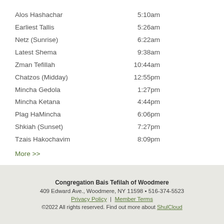|  |  |
| --- | --- |
| Alos Hashachar | 5:10am |
| Earliest Tallis | 5:26am |
| Netz (Sunrise) | 6:22am |
| Latest Shema | 9:38am |
| Zman Tefillah | 10:44am |
| Chatzos (Midday) | 12:55pm |
| Mincha Gedola | 1:27pm |
| Mincha Ketana | 4:44pm |
| Plag HaMincha | 6:06pm |
| Shkiah (Sunset) | 7:27pm |
| Tzais Hakochavim | 8:09pm |
More >>
Congregation Bais Tefilah of Woodmere
409 Edward Ave., Woodmere, NY 11598 • 516-374-5523
Privacy Policy | Member Terms
©2022 All rights reserved. Find out more about ShulCloud